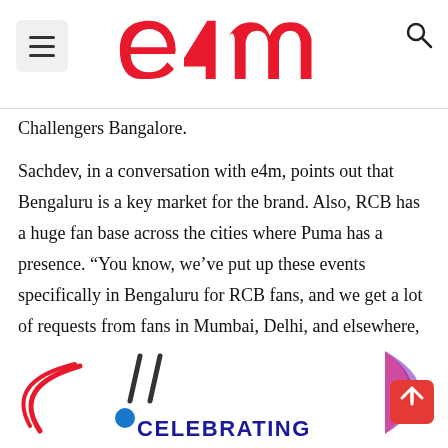e4m
Challengers Bangalore.
Sachdev, in a conversation with e4m, points out that Bengaluru is a key market for the brand. Also, RCB has a huge fan base across the cities where Puma has a presence. “You know, we’ve put up these events specifically in Bengaluru for RCB fans, and we get a lot of requests from fans in Mumbai, Delhi, and elsewhere, saying hey! how about an event in our city? So clearly, there’s a universal engagement,” she notes.
[Figure (logo): Partial bottom banner with decorative swirl logo on left, partial pink/purple circle on right, and CELEBRATING text in dark blue bold]
CELEBRATING